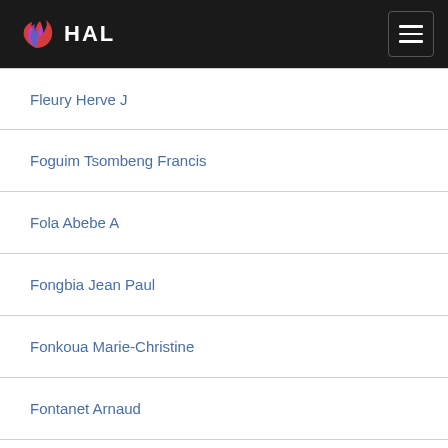HAL
Fleury Herve J
Foguim Tsombeng Francis
Fola Abebe A
Fongbia Jean Paul
Fonkoua Marie-Christine
Fontanet Arnaud
Fouchard Nathalie
Fournier Jean-Michel
Frances Camille
Franck Thierry
Frank T.